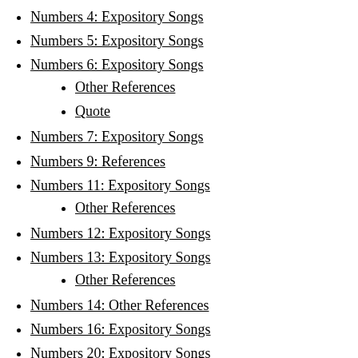Numbers 4: Expository Songs
Numbers 5: Expository Songs
Numbers 6: Expository Songs
Other References
Quote
Numbers 7: Expository Songs
Numbers 9: References
Numbers 11: Expository Songs
Other References
Numbers 12: Expository Songs
Numbers 13: Expository Songs
Other References
Numbers 14: Other References
Numbers 16: Expository Songs
Numbers 20: Expository Songs
Other References
Numbers 21: Expository Songs